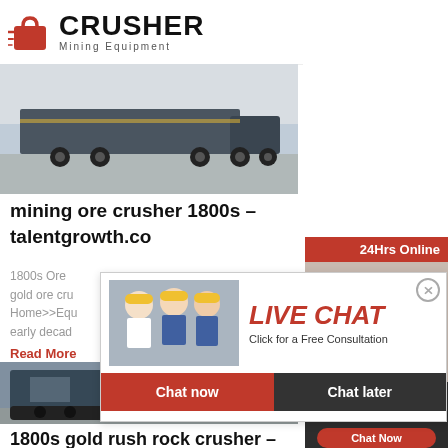[Figure (logo): Crusher Mining Equipment logo with red shopping bag icon and bold text CRUSHER / Mining Equipment]
[Figure (photo): A flat-bed heavy transport truck/trailer on a road]
mining ore crusher 1800s – talentgrowth.co
1800s Ore gold ore cru Home>>Equ early decad
Read More
[Figure (photo): Large blue industrial mining crusher/mobile equipment machine on tracks]
1800s gold rush rock crusher – Gr Mill
[Figure (infographic): Live Chat popup overlay with workers in hard hats, red LIVE CHAT text, Click for a Free Consultation, Chat now and Chat later buttons]
[Figure (infographic): Right sidebar: 24Hrs Online banner, customer service rep photo, Need questions & suggestion? Chat Now button, Enquiry link, limingjlmofen@sina.com email]